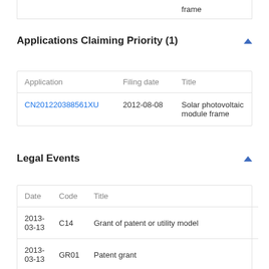| Application | Filing date | Title |
| --- | --- | --- |
|  |  | frame |
Applications Claiming Priority (1)
| Application | Filing date | Title |
| --- | --- | --- |
| CN201220388561XU | 2012-08-08 | Solar photovoltaic module frame |
Legal Events
| Date | Code | Title |
| --- | --- | --- |
| 2013-03-13 | C14 | Grant of patent or utility model |
| 2013-03-13 | GR01 | Patent grant |
| 2014-07-16 | C53 | Correction of patent for invention or patent ap |
| 2014-07-16 | CB03 | Change of inventor or designer information |